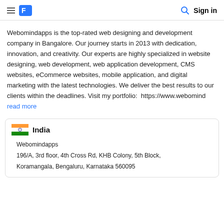Sign in
Webomindapps is the top-rated web designing and development company in Bangalore. Our journey starts in 2013 with dedication, innovation, and creativity. Our experts are highly specialized in website designing, web development, web application development, CMS websites, eCommerce websites, mobile application, and digital marketing with the latest technologies. We deliver the best results to our clients within the deadlines. Visit my portfolio:  https://www.webomind  read more
India
Webomindapps
196/A, 3rd floor, 4th Cross Rd, KHB Colony, 5th Block, Koramangala, Bengaluru, Karnataka 560095